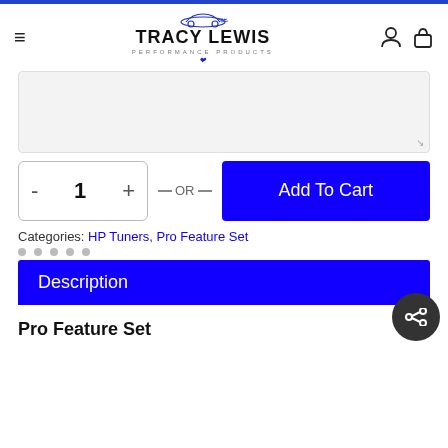Tracy Lewis Performance Products
[Figure (screenshot): Empty textarea input field with resize handle]
- 1 + — OR — Add To Cart
Categories: HP Tuners, Pro Feature Set
Description
Pro Feature Set